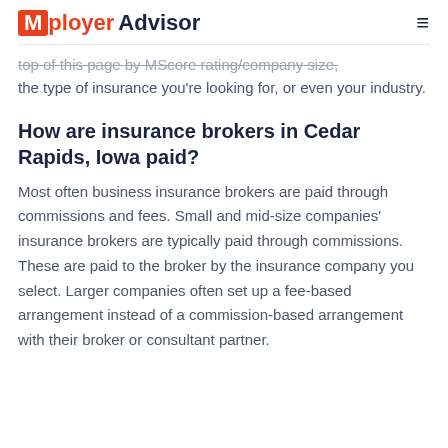Mployer Advisor
top of this page by MScore rating/company size, the type of insurance you're looking for, or even your industry.
How are insurance brokers in Cedar Rapids, Iowa paid?
Most often business insurance brokers are paid through commissions and fees. Small and mid-size companies' insurance brokers are typically paid through commissions. These are paid to the broker by the insurance company you select. Larger companies often set up a fee-based arrangement instead of a commission-based arrangement with their broker or consultant partner.